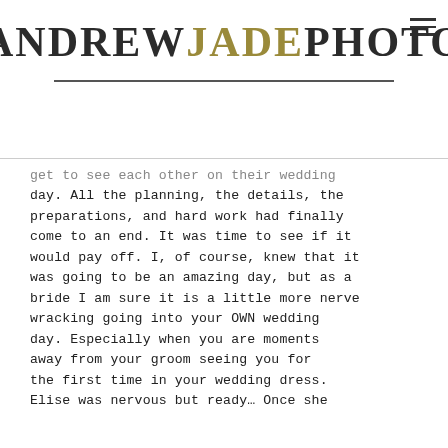ANDREW JADE PHOTO
get to see each other on their wedding day. All the planning, the details, the preparations, and hard work had finally come to an end. It was time to see if it would pay off. I, of course, knew that it was going to be an amazing day, but as a bride I am sure it is a little more nerve wracking going into your OWN wedding day. Especially when you are moments away from your groom seeing you for the first time in your wedding dress. Elise was nervous but ready… Once she